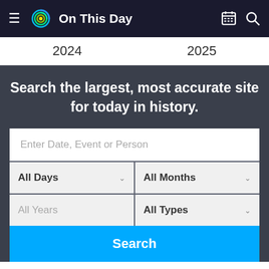On This Day
2024   2025
Search the largest, most accurate site for today in history.
[Figure (screenshot): Search form with text input 'Enter Date, Event or Person', dropdown selectors for All Days, All Months, All Years, All Types, and a Search button]